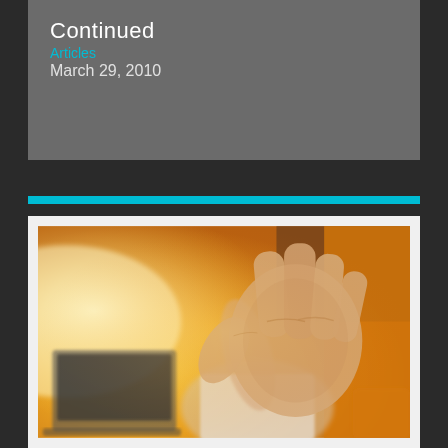Continued
Articles
March 29, 2010
[Figure (photo): A person raising their hand in a stop or blocking gesture toward a laptop screen, photographed in a warm orange-tinted environment]